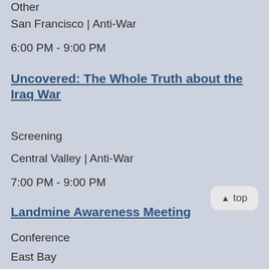Other
San Francisco | Anti-War
6:00 PM - 9:00 PM
Uncovered: The Whole Truth about the Iraq War
Screening
Central Valley | Anti-War
7:00 PM - 9:00 PM
Landmine Awareness Meeting
Conference
East Bay
7:00 PM - 9:00 PM